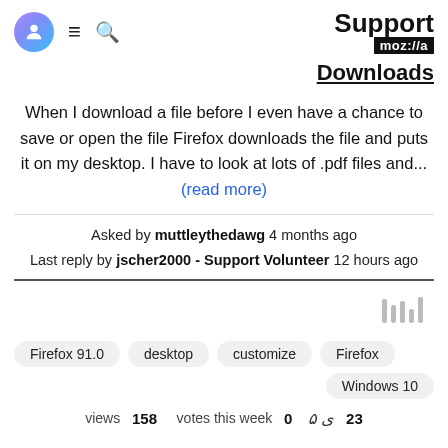Support moz://a
Downloads
When I download a file before I even have a chance to save or open the file Firefox downloads the file and puts it on my desktop. I have to look at lots of .pdf files and... (read more)
Asked by muttleythedawg 4 months ago
Last reply by jscher2000 - Support Volunteer 12 hours ago
[Figure (other): Stylized bar/library icon in grey]
Firefox 91.0   desktop   customize   Firefox   Windows 10
views 158   votes this week 0   23